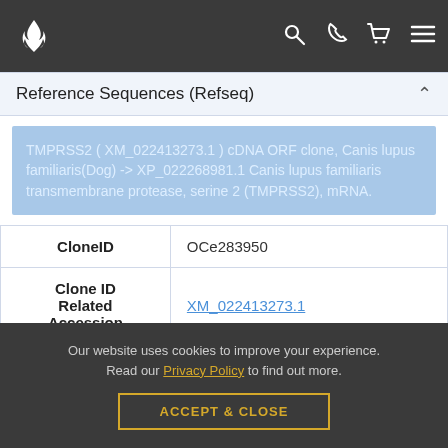[Figure (screenshot): Navigation bar with flame logo, search, phone, cart, and menu icons on dark background]
Reference Sequences (Refseq)
TMPRSS2 ( XM_022413273.1 ) cDNA ORF clone, Canis lupus familiaris(Dog) -> XP_022268981.1 Canis lupus familiaris transmembrane protease, serine 2 (TMPRSS2), mRNA.
| Field | Value |
| --- | --- |
| CloneID | OCe283950 |
| Clone ID Related Accession | XM_022413273.1 |
Our website uses cookies to improve your experience. Read our Privacy Policy to find out more.
ACCEPT & CLOSE